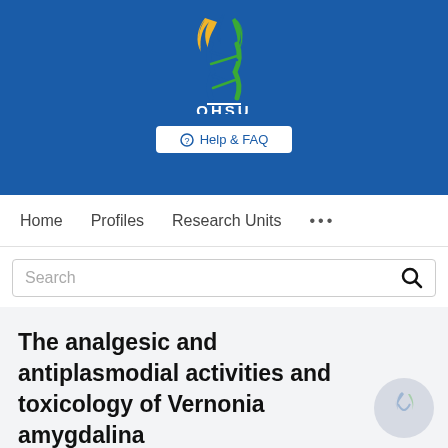[Figure (logo): OHSU (Oregon Health & Science University) logo with DNA helix and flame design in blue, green, and gold, with white OHSU text below on blue banner background]
⊕ Help & FAQ
Home   Profiles   Research Units   •••
Search
The analgesic and antiplasmodial activities and toxicology of Vernonia amygdalina